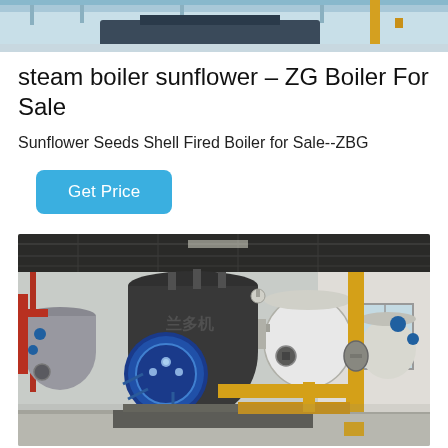[Figure (photo): Top partial image of an industrial boiler facility with blue ceiling/machinery visible]
steam boiler sunflower – ZG Boiler For Sale
Sunflower Seeds Shell Fired Boiler for Sale--ZBG
Get Price
[Figure (photo): Industrial boiler room showing large cylindrical boilers with Chinese text, blue circular burner assembly on front, yellow gas pipes on right side, white cylindrical tanks in background, industrial ceiling with metal framing]